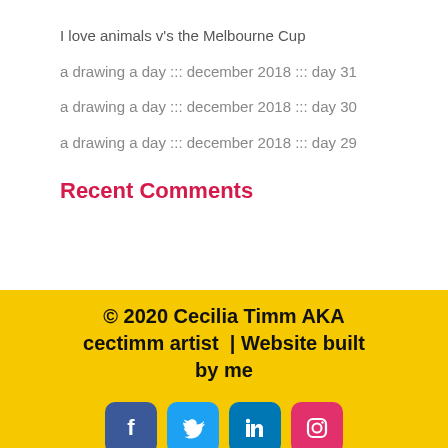I love animals v's the Melbourne Cup
a drawing a day ::: december 2018 ::: day 31
a drawing a day ::: december 2018 ::: day 30
a drawing a day ::: december 2018 ::: day 29
Recent Comments
© 2020 Cecilia Timm AKA cectimm artist  | Website built by me